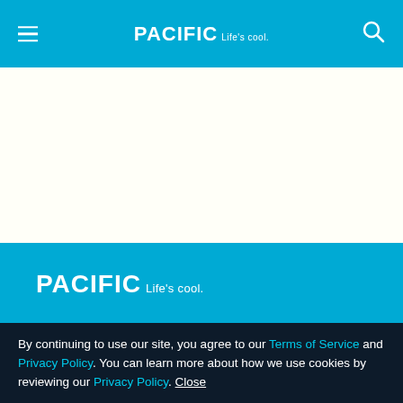PACIFIC Life's cool.
[Figure (logo): Pacific Life's cool. logo in white text in the blue footer area]
Privacy Policy
Terms of Service
By continuing to use our site, you agree to our Terms of Service and Privacy Policy. You can learn more about how we use cookies by reviewing our Privacy Policy. Close